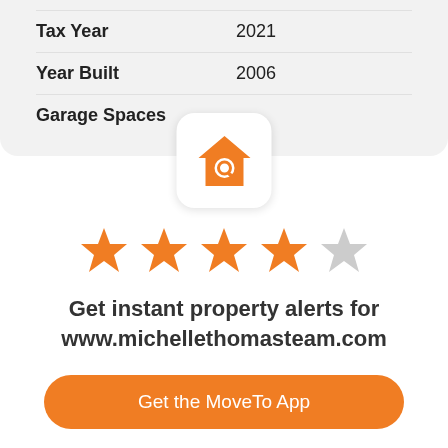| Tax Year | 2021 |
| Year Built | 2006 |
| Garage Spaces |  |
[Figure (logo): House search icon with magnifying glass, orange on white background, rounded square]
[Figure (infographic): 4 filled orange stars and 1 empty gray star — 4 out of 5 star rating]
Get instant property alerts for www.michellethomasteam.com
Get the MoveTo App
Not Now